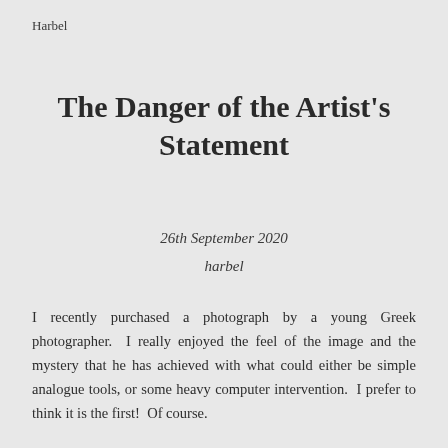Harbel
The Danger of the Artist's Statement
26th September 2020
harbel
I recently purchased a photograph by a young Greek photographer. I really enjoyed the feel of the image and the mystery that he has achieved with what could either be simple analogue tools, or some heavy computer intervention. I prefer to think it is the first! Of course.